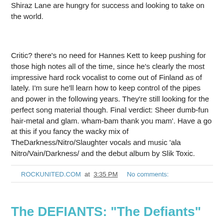Shiraz Lane are hungry for success and looking to take on the world.
Critic? there's no need for Hannes Kett to keep pushing for those high notes all of the time, since he's clearly the most impressive hard rock vocalist to come out of Finland as of lately. I'm sure he'll learn how to keep control of the pipes and power in the following years. They're still looking for the perfect song material though. Final verdict: Sheer dumb-fun hair-metal and glam. wham-bam thank you mam'. Have a go at this if you fancy the wacky mix of TheDarkness/Nitro/Slaughter vocals and music 'ala Nitro/Vain/Darkness/ and the debut album by Slik Toxic.
ROCKUNITED.COM at 3:35 PM    No comments:
Share
The DEFIANTS: "The Defiants"